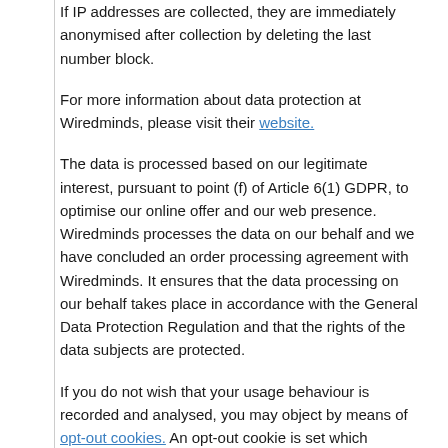If IP addresses are collected, they are immediately anonymised after collection by deleting the last number block.
For more information about data protection at Wiredminds, please visit their website.
The data is processed based on our legitimate interest, pursuant to point (f) of Article 6(1) GDPR, to optimise our online offer and our web presence. Wiredminds processes the data on our behalf and we have concluded an order processing agreement with Wiredminds. It ensures that the data processing on our behalf takes place in accordance with the General Data Protection Regulation and that the rights of the data subjects are protected.
If you do not wish that your usage behaviour is recorded and analysed, you may object by means of opt-out cookies. An opt-out cookie is set which prevents future capturing of your data when visiting this website. The opt-out cookie is only applicable to this browser and only for our website and is stored on your device. If you